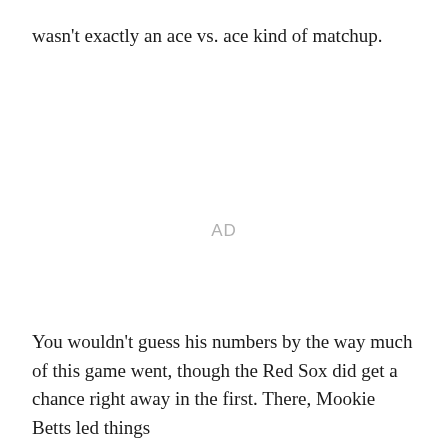wasn't exactly an ace vs. ace kind of matchup.
[Figure (other): AD placeholder for advertisement space]
You wouldn't guess his numbers by the way much of this game went, though the Red Sox did get a chance right away in the first. There, Mookie Betts led things